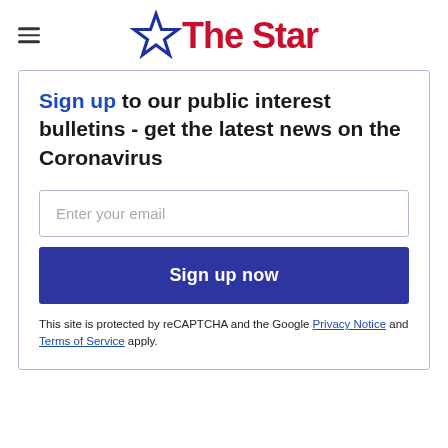The Star
Sign up to our public interest bulletins - get the latest news on the Coronavirus
Enter your email
Sign up now
This site is protected by reCAPTCHA and the Google Privacy Notice and Terms of Service apply.